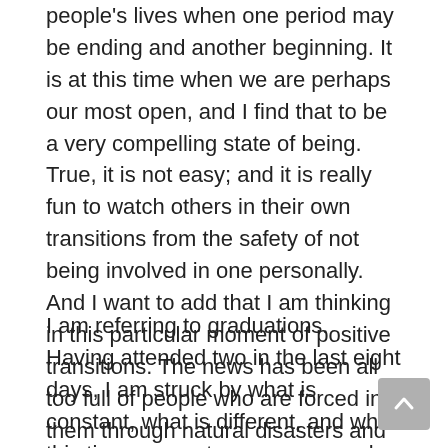people's lives when one period may be ending and another beginning. It is at this time when we are perhaps our most open, and I find that to be a very compelling state of being. True, it is not easy; and it is really fun to watch others in their own transitions from the safety of not being involved in one personally. And I want to add that I am thinking in this particular moment of positive transitions. The news has been all too full of people who are forced into them through natural disasters and violent acts of others, and although there may ultimately be some learning and something positive to pull from it, I am not at this time thinking of those opportunities encased in crises.
I am referring to graduations. Having attended two in the last eight days, I am struck by what is constant, what is different, and what this time means to so many people. Last week we were shivering in a tent which kept out much of the 48 degree wind whipping through. Yesterday we were sweltering in the shade on